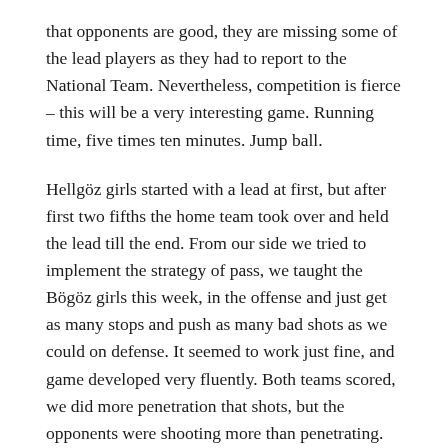that opponents are good, they are missing some of the lead players as they had to report to the National Team. Nevertheless, competition is fierce – this will be a very interesting game. Running time, five times ten minutes. Jump ball.
Hellgöz girls started with a lead at first, but after first two fifths the home team took over and held the lead till the end. From our side we tried to implement the strategy of pass, we taught the Bögöz girls this week, in the offense and just get as many stops and push as many bad shots as we could on defense. It seemed to work just fine, and game developed very fluently. Both teams scored, we did more penetration that shots, but the opponents were shooting more than penetrating. Long story short it all came down to 53 to 50 with four seconds to go – favor for the home team. Our players used the oldest trick in the back and after a foul play they closed the distance by